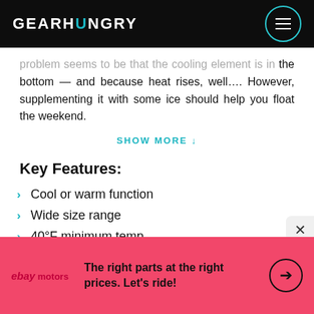GEARHUNGRY
problem seems to be that the cooling element is in the bottom — and because heat rises, well.... However, supplementing it with some ice should help you float the weekend.
SHOW MORE ↓
Key Features:
Cool or warm function
Wide size range
40°F minimum temp.
The right parts at the right prices. Let's ride!